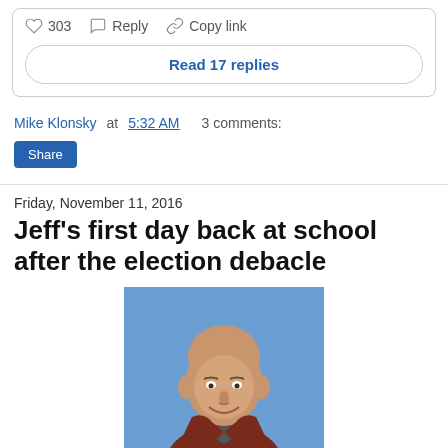303  Reply  Copy link
Read 17 replies
Mike Klonsky at 5:32 AM   3 comments:
Share
Friday, November 11, 2016
Jeff's first day back at school after the election debacle
[Figure (photo): Headshot of a bald man smiling, wearing a dark jacket, against a blue background]